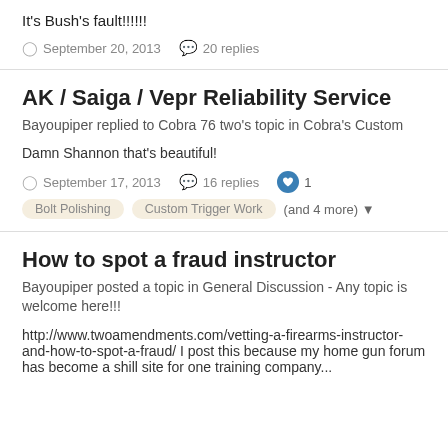It's Bush's fault!!!!!!
September 20, 2013  20 replies
AK / Saiga / Vepr Reliability Service
Bayoupiper replied to Cobra 76 two's topic in Cobra's Custom
Damn Shannon that's beautiful!
September 17, 2013  16 replies  1
Bolt Polishing  Custom Trigger Work  (and 4 more)
How to spot a fraud instructor
Bayoupiper posted a topic in General Discussion - Any topic is welcome here!!!
http://www.twoamendments.com/vetting-a-firearms-instructor-and-how-to-spot-a-fraud/ I post this because my home gun forum has become a shill site for one training company...